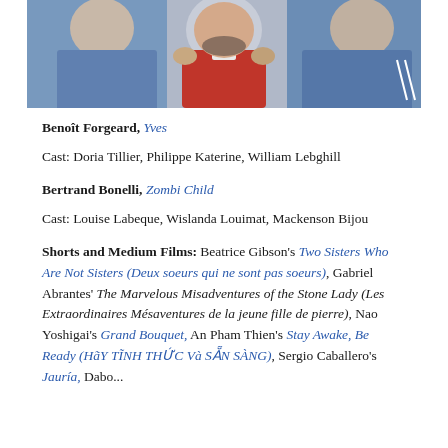[Figure (photo): Black and white or color photo showing people, a man in a red hoodie in the center with others around him in blue clothing]
Benoît Forgeard, Yves
Cast: Doria Tillier, Philippe Katerine, William Lebghill
Bertrand Bonelli, Zombi Child
Cast: Louise Labeque, Wislanda Louimat, Mackenson Bijou
Shorts and Medium Films: Beatrice Gibson's Two Sisters Who Are Not Sisters (Deux soeurs qui ne sont pas soeurs), Gabriel Abrantes' The Marvelous Misadventures of the Stone Lady (Les Extraordinaires Mésaventures de la jeune fille de pierre), Nao Yoshigai's Grand Bouquet, An Pham Thien's Stay Awake, Be Ready (HãY TĨNH THỨC Và SẴN SÀNG), Sergio Caballero's Jauría, Dabo...